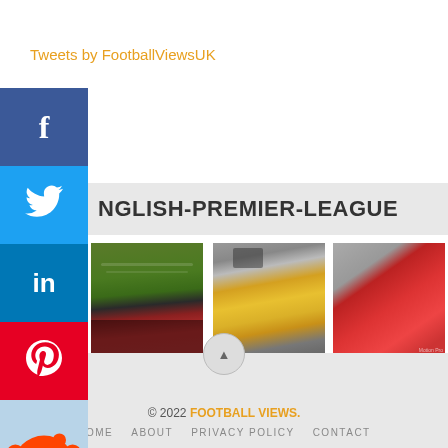Tweets by FootballViewsUK
NGLISH-PREMIER-LEAGUE
[Figure (photo): Football stadium aerial view with green pitch and red crowd]
[Figure (photo): Football fans with yellow flags in stadium]
[Figure (photo): Red Liverpool flag at stadium]
MANCHESTER UNITED LINING UP MOVE FOR THOMAS MEUNIER?
WOLVES ON VERGE OF SIGNING MATHEUS NUNES
LIVERPOOL MONITORING RED BULL SALZBURG'S LUKA SUCIC
© 2022 FOOTBALL VIEWS. HOME ABOUT PRIVACY POLICY CONTACT